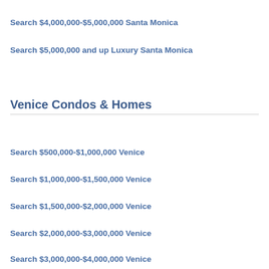Search $4,000,000-$5,000,000 Santa Monica
Search $5,000,000 and up Luxury Santa Monica
Venice Condos & Homes
Search $500,000-$1,000,000 Venice
Search $1,000,000-$1,500,000 Venice
Search $1,500,000-$2,000,000 Venice
Search $2,000,000-$3,000,000 Venice
Search $3,000,000-$4,000,000 Venice